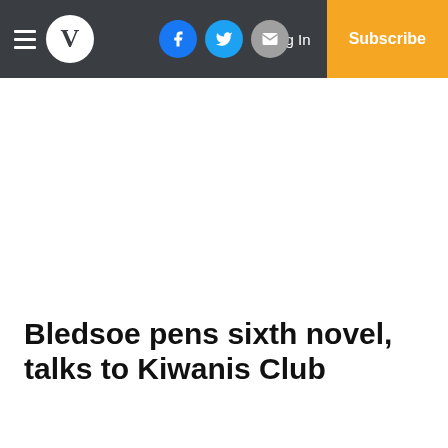V | Log In | Subscribe
Bledsoe pens sixth novel, talks to Kiwanis Club